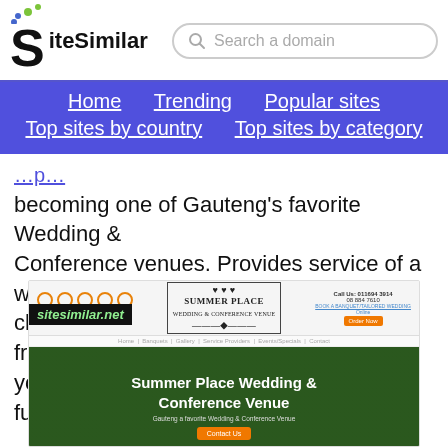SiteSimilar — Search a domain — Home | Trending | Popular sites | Top sites by country | Top sites by category
becoming one of Gauteng's favorite Wedding & Conference venues. Provides service of a world class standard and can handle everything from your dream wedding to large corporate functions & events.
[Figure (screenshot): Screenshot of summerplace.co.za showing the Summer Place Wedding & Conference Venue website with logo, COVID-19 badge, call us contact info, navigation, and a wedding couple hero image with site title 'Summer Place Wedding & Conference Venue' and 'Gauteng a favorite Wedding & Conference Venue' tagline.]